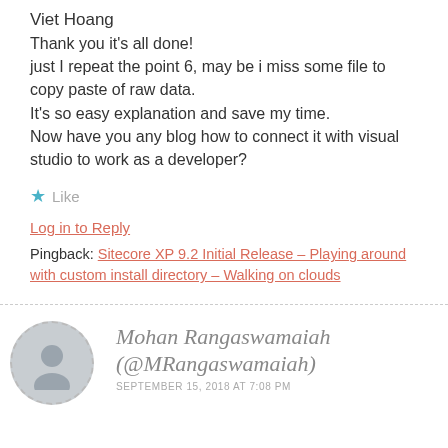Viet Hoang
Thank you it's all done!
just I repeat the point 6, may be i miss some file to copy paste of raw data.
It's so easy explanation and save my time.
Now have you any blog how to connect it with visual studio to work as a developer?
★ Like
Log in to Reply
Pingback: Sitecore XP 9.2 Initial Release – Playing around with custom install directory – Walking on clouds
Mohan Rangaswamaiah (@MRangaswamaiah)
SEPTEMBER 15, 2018 AT 7:08 PM